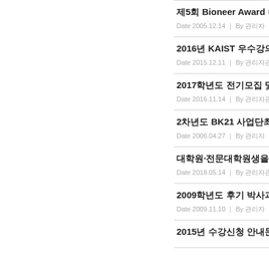제5회 Bioneer Award 수상 | Date 2005.12.14 | By 관리자
2016년 KAIST 우수강의상 수상 | Date 2015.12.11 | By 관리자관리자
2017학년도 전기모집 및 전형 관련 공지사항 안내 | Date 2016.11.14 | By 관리자관리자
2차년도 BK21 사업단최우수사업단 우수사업단상 | Date 2006.04.27 | By 관리자
대학원·전문대학원생을 위한 제14회 대학원혁신역량강화프로그 | Date 2018.05.14 | By 관리자관리자
2009학년도 후기 박사과정학생 선발 | Date 2009.11.10 | By 관리자
2015년 수강신청 안내문 / Course